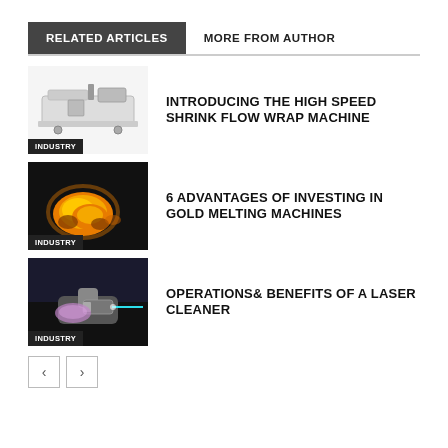RELATED ARTICLES
MORE FROM AUTHOR
[Figure (photo): Industrial shrink flow wrap machine on white background]
INTRODUCING THE HIGH SPEED SHRINK FLOW WRAP MACHINE
INDUSTRY
[Figure (photo): Glowing orange molten gold metal pieces on dark background]
6 ADVANTAGES OF INVESTING IN GOLD MELTING MACHINES
INDUSTRY
[Figure (photo): Person using a handheld laser cleaner device]
OPERATIONS& BENEFITS OF A LASER CLEANER
INDUSTRY